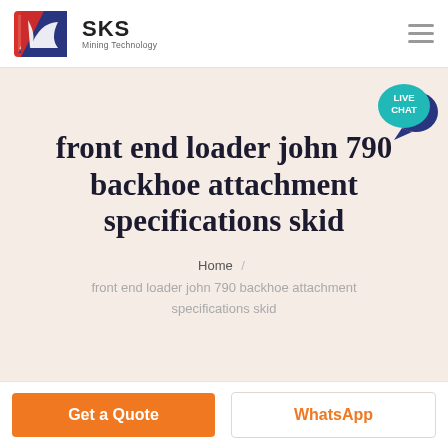SKS Mining Technology
[Figure (logo): SKS Mining Technology logo with red and blue shield icon]
[Figure (illustration): Live Chat speech bubble icon in teal/dark blue]
front end loader john 790 backhoe attachment specifications skid
Home / front end loader john 790 backhoe attachment specifications skid
Get a Quote
WhatsApp